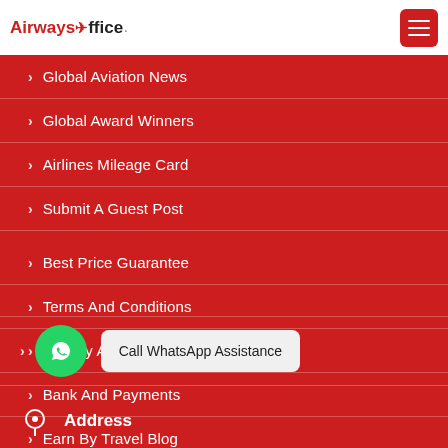Airways Office
Global Aviation News
Global Award Winners
Airlines Mileage Card
Submit A Guest Post
Best Price Guarantee
Terms And Conditions
Privacy And Policy
Bank And Payments
Earn By Travel Blog
Call WhatsApp Assistance
Address